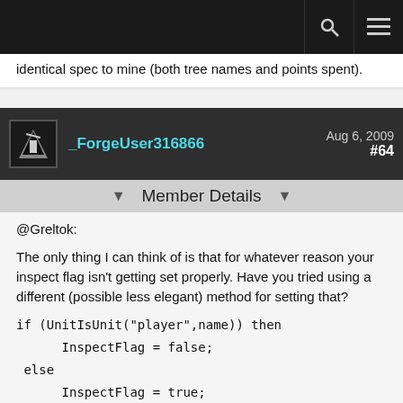Navigation bar with search and menu icons
identical spec to mine (both tree names and points spent).
_ForgeUser316866  Aug 6, 2009  #64
Member Details
@Greltok:
The only thing I can think of is that for whatever reason your inspect flag isn't getting set properly. Have you tried using a different (possible less elegant) method for setting that?
if (UnitIsUnit("player",name)) then
      InspectFlag = false;
 else
      InspectFlag = true;
 end